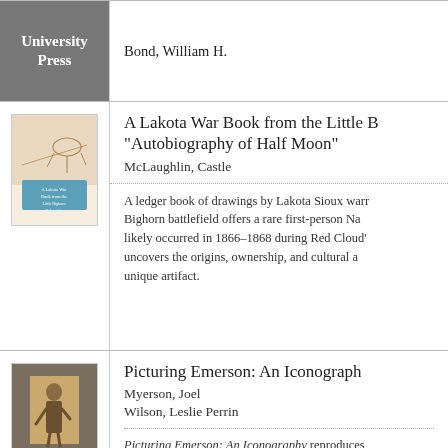[Figure (illustration): University Press logo in grey box]
Bond, William H.
[Figure (illustration): Book cover: A Lakota War Book from the Little Bighorn showing ledger drawings of horses and warriors]
A Lakota War Book from the Little Bighorn: "Autobiography of Half Moon"
McLaughlin, Castle
A ledger book of drawings by Lakota Sioux warriors found at the Little Bighorn battlefield offers a rare first-person Native American account of battles likely occurred in 1866–1868 during Red Cloud's War. This study uncovers the origins, ownership, and cultural and artistic significance of this unique artifact.
[Figure (illustration): Book cover: Picturing Emerson: An Iconography showing a vintage photograph of a person]
Picturing Emerson: An Iconography
Myerson, Joel
Wilson, Leslie Perrin
Picturing Emerson: An Iconography reproduces known images of Ralph Waldo Emerson created as paintings, silhouettes, sculptures, and photographs, and provides dates and commentary, enabling readers to trace the 1820s to the 1880s.